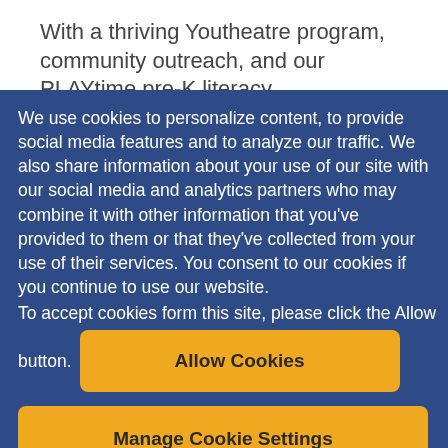With a thriving Youtheatre program, community outreach, and our PLAYtime pre-K literacy
We use cookies to personalize content, to provide social media features and to analyze our traffic. We also share information about your use of our site with our social media and analytics partners who may combine it with other information that you've provided to them or that they've collected from your use of their services. You consent to our cookies if you continue to use our website.
To accept cookies form this site, please click the Allow button.
Allow Cookies
Manage Cookie Settings